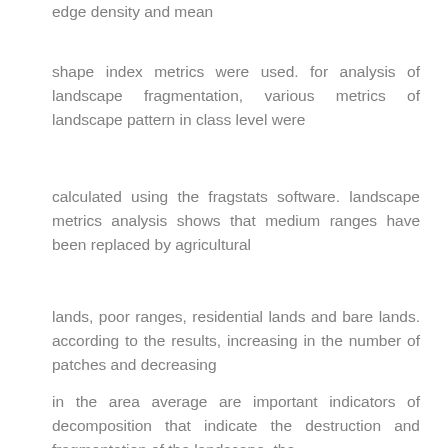edge density and mean shape index metrics were used. for analysis of landscape fragmentation, various metrics of landscape pattern in class level were calculated using the fragstats software. landscape metrics analysis shows that medium ranges have been replaced by agricultural lands, poor ranges, residential lands and bare lands. according to the results, increasing in the number of patches and decreasing in the area average are important indicators of decomposition that indicate the destruction and fragmentation of the landscape. the